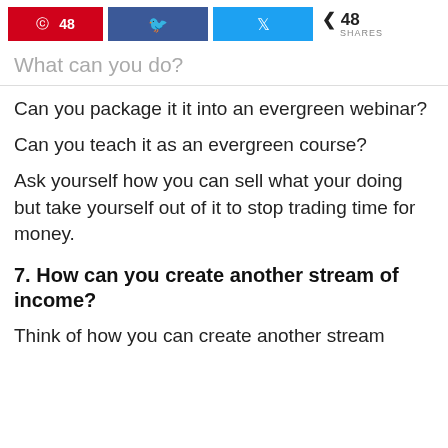[Figure (infographic): Social share bar with red Pinterest button showing 48 count, blue Facebook button, blue Twitter button, and share count of 48 SHARES]
What can you do?
Can you package it it into an evergreen webinar?
Can you teach it as an evergreen course?
Ask yourself how you can sell what your doing but take yourself out of it to stop trading time for money.
7. How can you create another stream of income?
Think of how you can create another stream